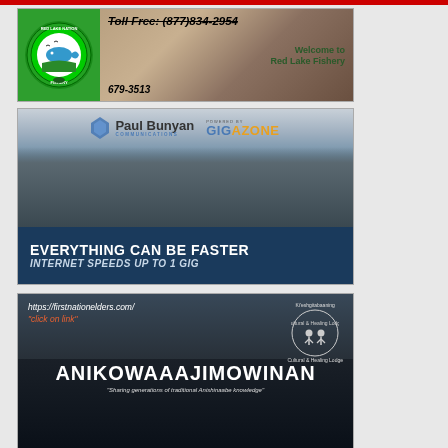[Figure (illustration): Red Lake Nation Fishery advertisement with toll-free number (877)834-2954, local number 679-3513, and Welcome to Red Lake Fishery text, with logo and fish photo.]
[Figure (illustration): Paul Bunyan Communications GigaZone advertisement showing people on couch with tablet. Text: EVERYTHING CAN BE FASTER, INTERNET SPEEDS UP TO 1 GIG]
[Figure (illustration): First Nation Elders / Kieshgitabaaning Cultural & Healing Lodge advertisement. URL: https://firstnationelders.com/ with click on link text. Large title: ANIKOWAAAJIMOWINAN. Subtitle: Sharing generations of traditional Anishinaabe knowledge]